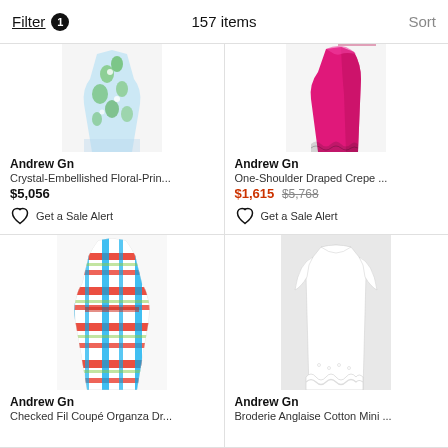Filter 1   157 items   Sort
[Figure (photo): Crystal-embellished floral print dress (partial top crop), light blue with green floral pattern]
Andrew Gn
Crystal-Embellished Floral-Prin...
$5,056
Get a Sale Alert
[Figure (photo): One-shoulder draped crepe dress (partial top crop), bright magenta/pink color]
Andrew Gn
One-Shoulder Draped Crepe ...
$1,615 $5,768
Get a Sale Alert
[Figure (photo): Checked Fil Coupé Organza dress, multicolor plaid pattern with red, blue, green stripes]
Andrew Gn
Checked Fil Coupé Organza Dr...
[Figure (photo): Broderie Anglaise Cotton Mini dress, white with lace hem detail]
Andrew Gn
Broderie Anglaise Cotton Mini ...